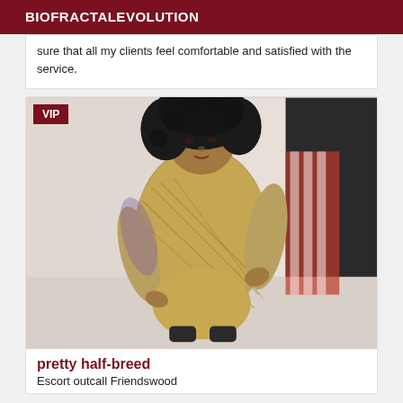BIOFRACTALEVOLUTION
sure that all my clients feel comfortable and satisfied with the service.
[Figure (photo): Woman wearing a patterned dress, VIP listing photo]
pretty half-breed
Escort outcall Friendswood